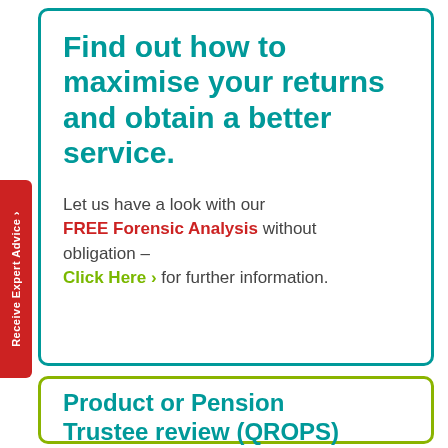Find out how to maximise your returns and obtain a better service.
Let us have a look with our FREE Forensic Analysis without obligation – Click Here › for further information.
Product or Pension Trustee review (QROPS)